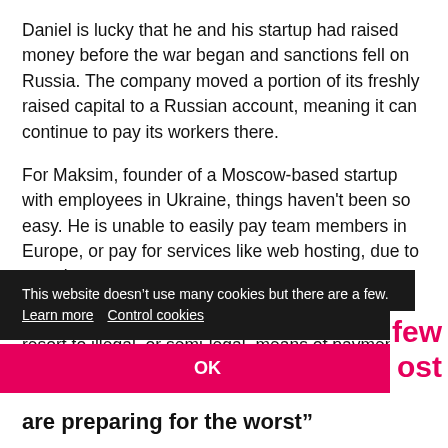Daniel is lucky that he and his startup had raised money before the war began and sanctions fell on Russia. The company moved a portion of its freshly raised capital to a Russian account, meaning it can continue to pay its workers there.
For Maksim, founder of a Moscow-based startup with employees in Ukraine, things haven't been so easy. He is unable to easily pay team members in Europe, or pay for services like web hosting, due to sanctions.
“All financial flows are broken. We are having to resort to illegal, or semi-legal, means of payments,” he says.
This website doesn’t use many cookies but there are a few. Learn more  Control cookies
OK
few
ost
are preparing for the worst”